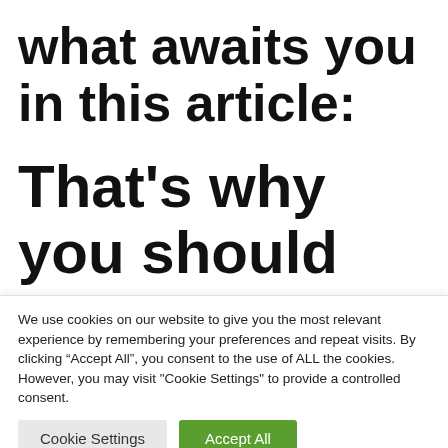what awaits you in this article:
That’s why you should have started online yoga
We use cookies on our website to give you the most relevant experience by remembering your preferences and repeat visits. By clicking “Accept All”, you consent to the use of ALL the cookies. However, you may visit "Cookie Settings" to provide a controlled consent.
Cookie Settings   Accept All